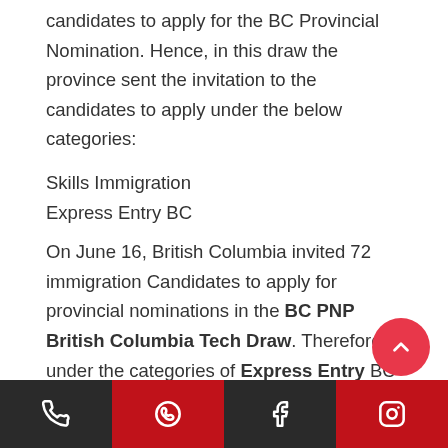candidates to apply for the BC Provincial Nomination. Hence, in this draw the province sent the invitation to the candidates to apply under the below categories:
Skills Immigration
Express Entry BC
On June 16, British Columbia invited 72 immigration Candidates to apply for provincial nominations in the BC PNP British Columbia Tech Draw. Therefore, under the categories of Express Entry BC and skills immigration, the candidates are given invitations under the British Columbia Provincial Nominee Program (BC PNP) Tech Pilot draw.
Phone | WhatsApp | Facebook | Instagram